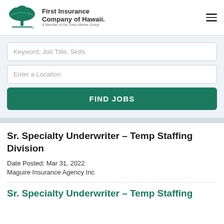First Insurance Company of Hawaii. A Member of the Tokio Marine Group
Keyword, Job Title, Skills
Enter a Location
FIND JOBS
Sr. Specialty Underwriter – Temp Staffing Division
Date Posted: Mar 31, 2022
Maguire Insurance Agency Inc
Sr. Specialty Underwriter – Temp Staffing